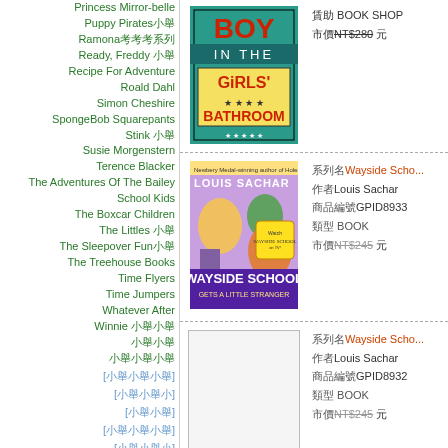Princess Mirror-belle
Puppy Pirates
Ramona
Ready, Freddy
Recipe For Adventure
Roald Dahl
Simon Cheshire
SpongeBob Squarepants
Stink
Susie Morgenstern
Terence Blacker
The Adventures Of The Bailey School Kids
The Boxcar Children
The Littles
The Sleepover Fun
The Treehouse Books
Time Flyers
Time Jumpers
Whatever After
Winnie
[bracket nav 1]
[bracket nav 2]
[bracket nav 3]
[bracket nav 4]
[bracket nav 5]
[Figure (photo): Book cover: Boy in the Girls' Bathroom]
BOOK SHOP NT$280
[Figure (photo): Book cover: Wayside School Gets a Little Stranger by Louis Sachar]
Wayside Schoo... Louis Sachar GPID8933 BOOK NT$245
[Figure (photo): Book cover: Wayside School (second entry)]
Wayside Schoo... Louis Sachar GPID8932 BOOK NT$245